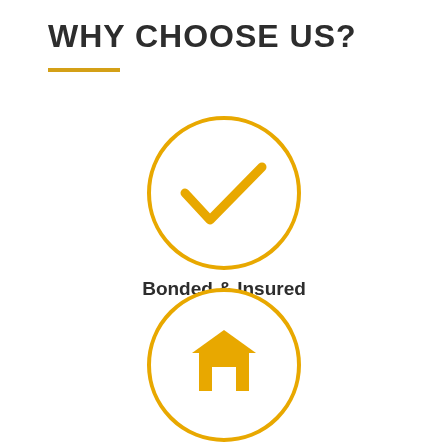WHY CHOOSE US?
[Figure (infographic): Three circular icons with golden/amber outlines arranged vertically. First circle contains a checkmark icon with label 'Bonded & Insured' below. Second circle contains a house/home icon with label 'Free Estimates' below. Third circle (partially visible) contains a hammer and wrench tools icon.]
Bonded & Insured
Free Estimates